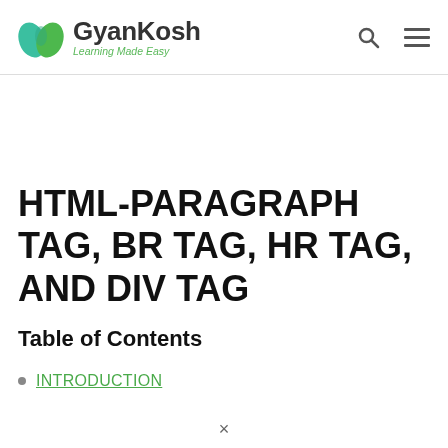[Figure (logo): GyanKosh logo with green leaf icon and tagline 'Learning Made Easy']
HTML-PARAGRAPH TAG, BR TAG, HR TAG, AND DIV TAG
Table of Contents
INTRODUCTION